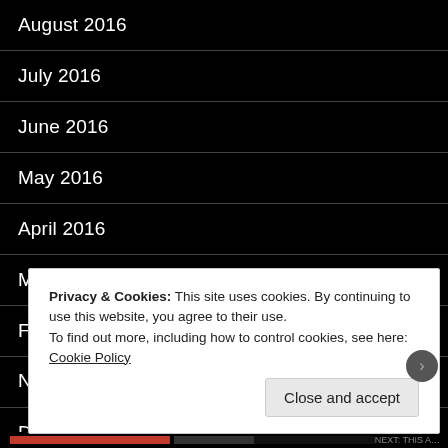August 2016
July 2016
June 2016
May 2016
April 2016
March 2016
February 2016
January 2016
December 2015
Privacy & Cookies: This site uses cookies. By continuing to use this website, you agree to their use.
To find out more, including how to control cookies, see here: Cookie Policy
Close and accept